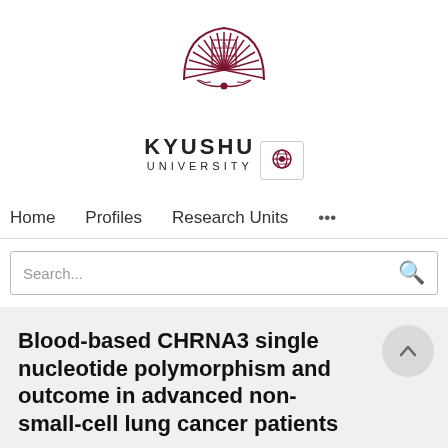[Figure (logo): Kyushu University sunburst/phoenix logo in dark red/maroon]
KYUSHU
UNIVERSITY
[Figure (other): Globe/language selector icon button]
Home   Profiles   Research Units   ...
Search...
Blood-based CHRNA3 single nucleotide polymorphism and outcome in advanced non-small-cell lung cancer patients